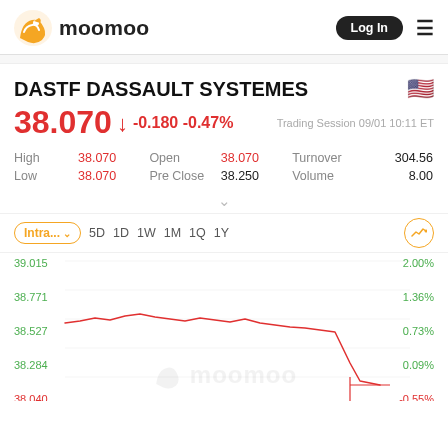[Figure (logo): moomoo app logo with orange bull icon and 'moomoo' wordmark, Log In button and hamburger menu on right]
DASTF DASSAULT SYSTEMES
38.070 ↓ -0.180 -0.47%   Trading Session 09/01 10:11 ET
|  |  |  |  |
| --- | --- | --- | --- |
| High | 38.070 | Open | 38.070 | Turnover | 304.56 |
| Low | 38.070 | Pre Close | 38.250 | Volume | 8.00 |
[Figure (line-chart): Intraday stock chart for DASTF showing price range from ~38.040 to ~39.015 with time period selector buttons: Intra..., 5D, 1D, 1W, 1M, 1Q, 1Y. Y-axis labels: 39.015, 38.771, 38.527, 38.284, 38.040. Percentage labels: 2.00%, 1.36%, 0.73%, 0.09%, -0.55%]